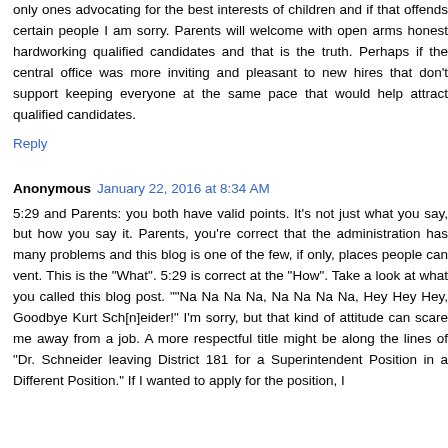only ones advocating for the best interests of children and if that offends certain people I am sorry. Parents will welcome with open arms honest hardworking qualified candidates and that is the truth. Perhaps if the central office was more inviting and pleasant to new hires that don't support keeping everyone at the same pace that would help attract qualified candidates.
Reply
Anonymous January 22, 2016 at 8:34 AM
5:29 and Parents: you both have valid points. It's not just what you say, but how you say it. Parents, you're correct that the administration has many problems and this blog is one of the few, if only, places people can vent. This is the "What". 5:29 is correct at the "How". Take a look at what you called this blog post. ""Na Na Na Na, Na Na Na Na, Hey Hey Hey, Goodbye Kurt Sch[n]eider!" I'm sorry, but that kind of attitude can scare me away from a job. A more respectful title might be along the lines of "Dr. Schneider leaving District 181 for a Superintendent Position in a Different Position." If I wanted to apply for the position, I